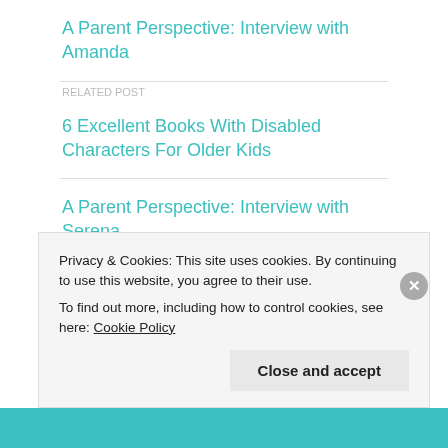A Parent Perspective: Interview with Amanda
6 Excellent Books With Disabled Characters For Older Kids
A Parent Perspective: Interview with Serena
10 Brilliant Picture Books With Disabled Characters
Listening to Lungs (Part Two)
Privacy & Cookies: This site uses cookies. By continuing to use this website, you agree to their use. To find out more, including how to control cookies, see here: Cookie Policy
Close and accept